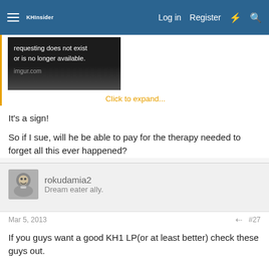KHInsider forum navbar with Log in, Register buttons
[Figure (screenshot): Imgur broken image error: 'requesting does not exist or is no longer available.' with imgur.com domain label on dark background]
Click to expand...
It's a sign!
So if I sue, will he be able to pay for the therapy needed to forget all this ever happened?
rokudamia2
Dream eater ally.
Mar 5, 2013  #27
If you guys want a good KH1 LP(or at least better) check these guys out.
YouTube